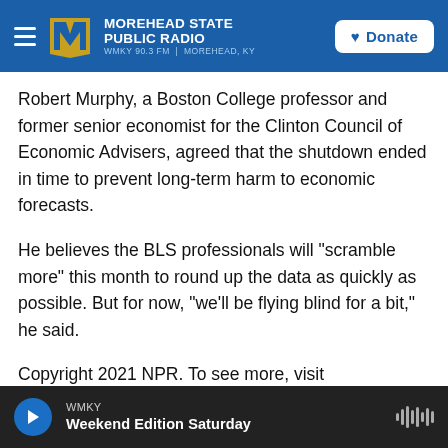Morehead State Public Radio — WMKY 90.3 FM | Morehead, KY — Donate
Robert Murphy, a Boston College professor and former senior economist for the Clinton Council of Economic Advisers, agreed that the shutdown ended in time to prevent long-term harm to economic forecasts.
He believes the BLS professionals will "scramble more" this month to round up the data as quickly as possible. But for now, "we'll be flying blind for a bit," he said.
Copyright 2021 NPR. To see more, visit https://www.npr.org.
WMKY — Weekend Edition Saturday